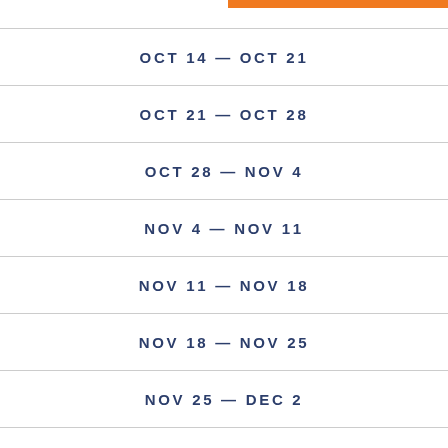OCT 14 — OCT 21
OCT 21 — OCT 28
OCT 28 — NOV 4
NOV 4 — NOV 11
NOV 11 — NOV 18
NOV 18 — NOV 25
NOV 25 — DEC 2